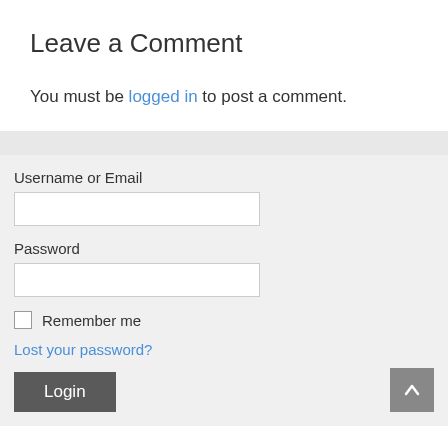Leave a Comment
You must be logged in to post a comment.
Username or Email
Password
Remember me
Lost your password?
Login